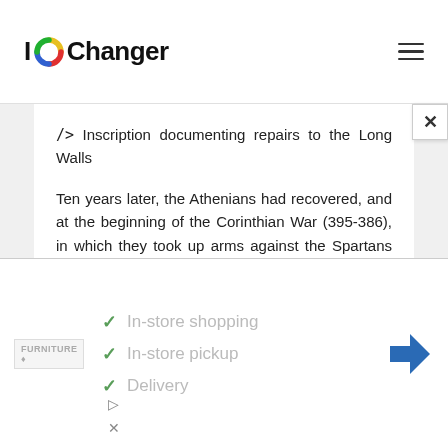IOChanger
/> Inscription documenting repairs to the Long Walls
Ten years later, the Athenians had recovered, and at the beginning of the Corinthian War (395-386), in which they took up arms against the Spartans again, their general Conon rebuilt the Long Walls.
The Long Walls were still standing at the
[Figure (screenshot): Advertisement banner showing furniture store with checkmarks for In-store shopping, In-store pickup, and Delivery, with a navigation arrow icon on the right]